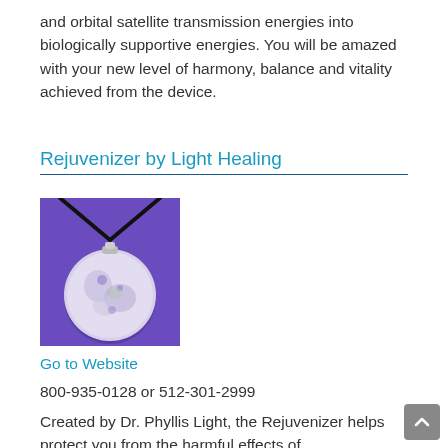and orbital satellite transmission energies into biologically supportive energies. You will be amazed with your new level of harmony, balance and vitality achieved from the device.
Rejuvenizer by Light Healing
[Figure (photo): A round crystal/orgonite pendant on a black cord against a purple background — the Rejuvenizer pendant by Light Healing.]
Go to Website
800-935-0128 or 512-301-2999
Created by Dr. Phyllis Light, the Rejuvenizer helps protect you from the harmful effects of electromagnetic fields from computers, cell phones,